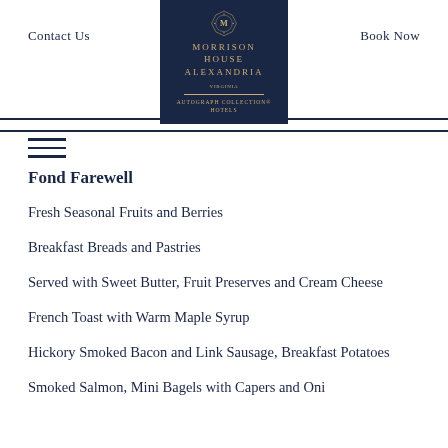Contact Us | Morrison House Alexandria Virginia – Autograph Collection Hotels | Book Now
Fond Farewell
Fresh Seasonal Fruits and Berries
Breakfast Breads and Pastries
Served with Sweet Butter, Fruit Preserves and Cream Cheese
French Toast with Warm Maple Syrup
Hickory Smoked Bacon and Link Sausage, Breakfast Potatoes
Smoked Salmon, Mini Bagels with Capers and Onion